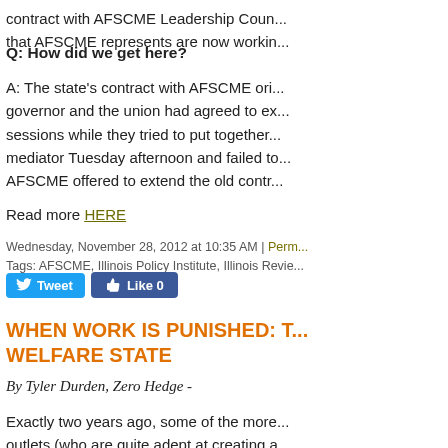contract with AFSCME Leadership Coun... that AFSCME represents are now workin...
Q: How did we get here?
A: The state's contract with AFSCME ori... governor and the union had agreed to ex... sessions while they tried to put together... mediator Tuesday afternoon and failed to... AFSCME offered to extend the old contr...
Read more HERE
Wednesday, November 28, 2012 at 10:35 AM | Perm... Tags: AFSCME, Illinois Policy Institute, Illinois Revie...
WHEN WORK IS PUNISHED: T... WELFARE STATE
By Tyler Durden, Zero Hedge -
Exactly two years ago, some of the more... outlets (who are quite adept at creating a... arguments, if not quite as adept at using... offense at our article "In Entitlement Ame...